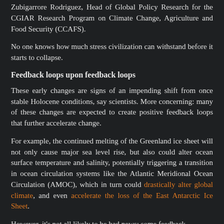Zubigarrore Rodriguez, Head of Global Policy Research for the CGIAR Research Program on Climate Change, Agriculture and Food Security (CCAFS).
No one knows how much stress civilization can withstand before it starts to collapse.
Feedback loops upon feedback loops
These early changes are signs of an impending shift from once stable Holocene conditions, say scientists. More concerning: many of these changes are expected to create positive feedback loops that further accelerate change.
For example, the continued melting of the Greenland ice sheet will not only cause major sea level rise, but also could alter ocean surface temperature and salinity, potentially triggering a transition in ocean circulation systems like the Atlantic Meridional Ocean Circulation (AMOC), which in turn could drastically alter global climate, and even accelerate the loss of the East Antarctic Ice Sheet.
However, it's not all likely to be bad news: some feedback